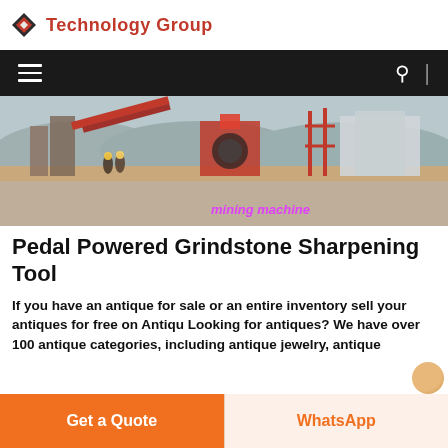Technology Group
[Figure (screenshot): Website navigation bar with hamburger menu and search icon on dark background]
[Figure (photo): Industrial mining site with machinery, conveyor belts, and workers; overlay text reads 'mining machine' in pink/magenta italic]
Pedal Powered Grindstone Sharpening Tool
If you have an antique for sale or an entire inventory sell your antiques for free on Antiqu Looking for antiques? We have over 100 antique categories, including antique jewelry, antique
Get a Quote | WhatsApp